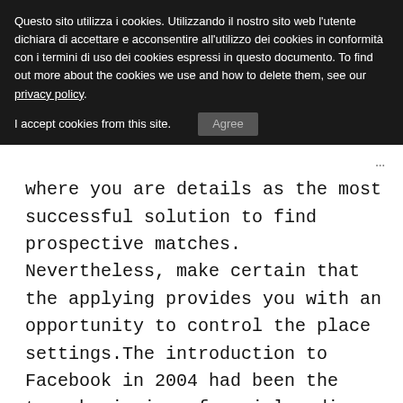Questo sito utilizza i cookies. Utilizzando il nostro sito web l'utente dichiara di accettare e acconsentire all'utilizzo dei cookies in conformità con i termini di uso dei cookies espressi in questo documento. To find out more about the cookies we use and how to delete them, see our privacy policy.
I accept cookies from this site.   Agree
where you are details as the most successful solution to find prospective matches. Nevertheless, make certain that the applying provides you with an opportunity to control the place settings. The introduction to Facebook in 2004 had been the true beginning of social media marketing. This offered everybody else with all the chance to communicate inside newer and/or